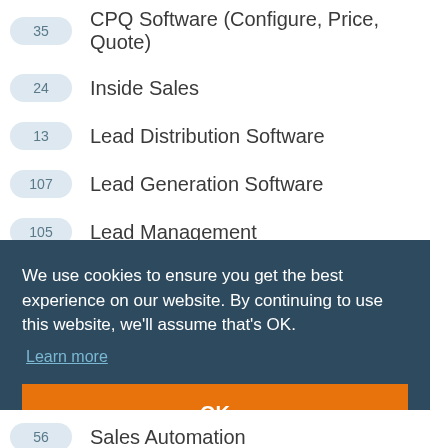35 CPQ Software (Configure, Price, Quote)
24 Inside Sales
13 Lead Distribution Software
107 Lead Generation Software
105 Lead Management
30 Presentation Software
We use cookies to ensure you get the best experience on our website. By continuing to use this website, we'll assume that's OK. Learn more
OK
56 Sales Automation